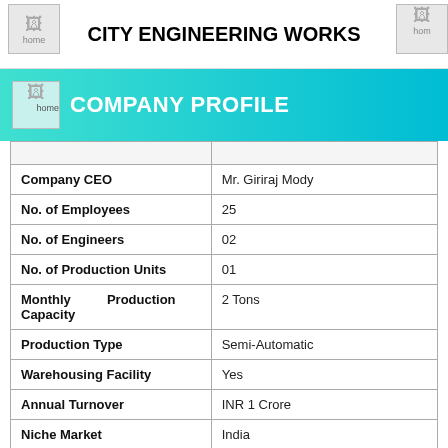CITY ENGINEERING WORKS
COMPANY PROFILE
| Field | Value |
| --- | --- |
| Company CEO | Mr. Giriraj Mody |
| No. of Employees | 25 |
| No. of Engineers | 02 |
| No. of Production Units | 01 |
| Monthly Production Capacity | 2 Tons |
| Production Type | Semi-Automatic |
| Warehousing Facility | Yes |
| Annual Turnover | INR 1 Crore |
| Niche Market | India |
| Trade and Market |  |